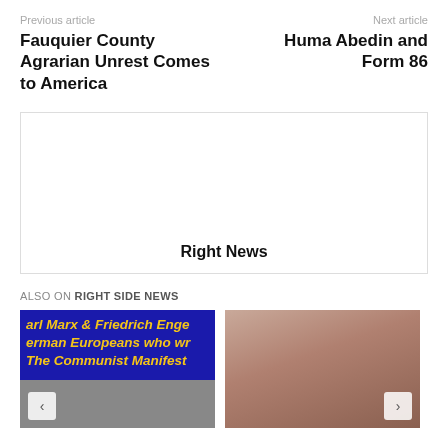Previous article
Next article
Fauquier County Agrarian Unrest Comes to America
Huma Abedin and Form 86
[Figure (other): Advertisement box with text 'Right News']
ALSO ON RIGHT SIDE NEWS
[Figure (photo): Thumbnail image with blue background and yellow italic text reading 'arl Marx & Friedrich Enge erman Europeans who wr The Communist Manifest' with a black-and-white photo below]
[Figure (photo): Thumbnail image showing a woman's face (Nancy Pelosi) with surprised expression]